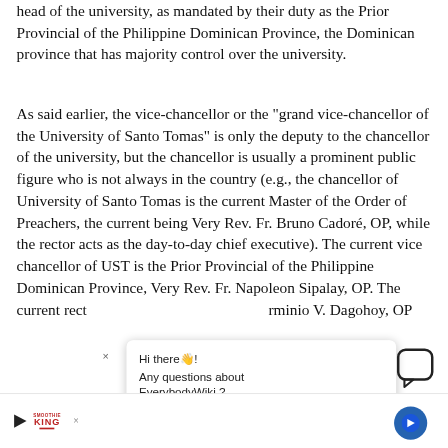head of the university, as mandated by their duty as the Prior Provincial of the Philippine Dominican Province, the Dominican province that has majority control over the university.
As said earlier, the vice-chancellor or the "grand vice-chancellor of the University of Santo Tomas" is only the deputy to the chancellor of the university, but the chancellor is usually a prominent public figure who is not always in the country (e.g., the chancellor of University of Santo Tomas is the current Master of the Order of Preachers, the current being Very Rev. Fr. Bruno Cadoré, OP, while the rector acts as the day-to-day chief executive). The current vice chancellor of UST is the Prior Provincial of the Philippine Dominican Province, Very Rev. Fr. Napoleon Sipalay, OP. The current rector... Erminio V. Dagohoy, OP...
In the u... different... of
[Figure (other): Chat popup overlay with text 'Hi there👋! Any questions about EverybodyWiki?' with a close button and chat icon]
[Figure (other): Smoothie King advertisement banner at bottom with play button, Smoothie King logo, X close button, and navigation arrow]